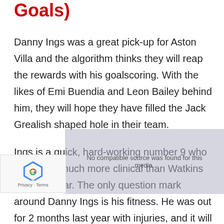Goals)
Danny Ings was a great pick-up for Aston Villa and the algorithm thinks they will reap the rewards with his goalscoring. With the likes of Emi Buendia and Leon Bailey behind him, they will hope they have filled the Jack Grealish shaped hole in their team.
Ings is a quick, hard-working number 9 who should be much more clinical than Watkins was last year. The only question mark around Danny Ings is his fitness. He was out for 2 months last year with injuries, and it will be up to Aston Villa's medical team to keep him fit.